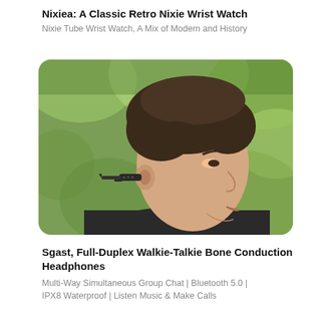Nixiea: A Classic Retro Nixie Wrist Watch
Nixie Tube Wrist Watch, A Mix of Modern and History
[Figure (photo): A young man seen from the side profile wearing bone conduction headphones on his left ear, with a green blurred outdoor background]
Sgast, Full-Duplex Walkie-Talkie Bone Conduction Headphones
Multi-Way Simultaneous Group Chat | Bluetooth 5.0 | IPX8 Waterproof | Listen Music & Make Calls